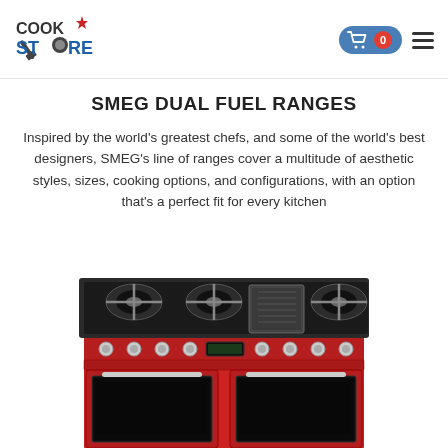Cook Store — navigation header with cart (0 items) and menu
SMEG DUAL FUEL RANGES
Inspired by the world's greatest chefs, and some of the world's best designers, SMEG's line of ranges cover a multitude of aesthetic styles, sizes, cooking options, and configurations, with an option that's a perfect fit for every kitchen
[Figure (photo): Red SMEG dual fuel range cooker with stainless steel gas burners on top, a central griddle, multiple control knobs, and two large oven compartments with dark glass doors]